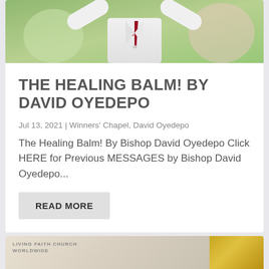[Figure (photo): Photo of a man in a white suit with arms raised, wearing a red tie and pocket square, against a colorful background]
THE HEALING BALM! BY DAVID OYEDEPO
Jul 13, 2021 | Winners' Chapel, David Oyedepo
The Healing Balm! By Bishop David Oyedepo Click HERE for Previous MESSAGES by Bishop David Oyedepo...
READ MORE
[Figure (photo): Partial view of another article card showing Living Faith Church Worldwide logo and a golden/yellow image on the right]